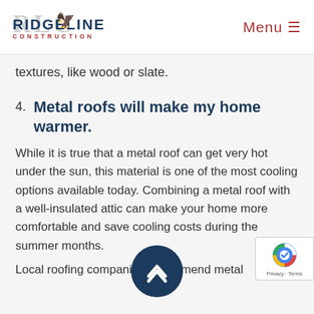Ridgeline Construction — Menu
textures, like wood or slate.
4. Metal roofs will make my home warmer.
While it is true that a metal roof can get very hot under the sun, this material is one of the most cooling options available today. Combining a metal roof with a well-insulated attic can make your home more comfortable and save cooling costs during the summer months.
Local roofing companies recommend metal